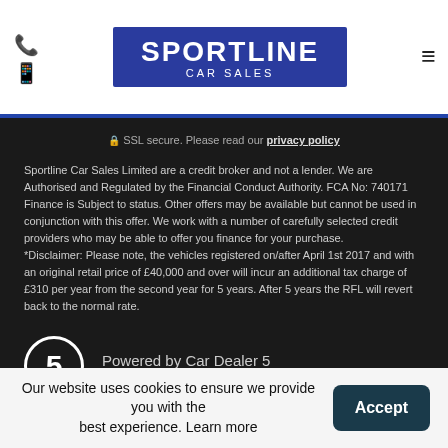Sportline Car Sales
SSL secure. Please read our privacy policy
Sportline Car Sales Limited are a credit broker and not a lender. We are Authorised and Regulated by the Financial Conduct Authority. FCA No: 740171 Finance is Subject to status. Other offers may be available but cannot be used in conjunction with this offer. We work with a number of carefully selected credit providers who may be able to offer you finance for your purchase. *Disclaimer: Please note, the vehicles registered on/after April 1st 2017 and with an original retail price of £40,000 and over will incur an additional tax charge of £310 per year from the second year for 5 years. After 5 years the RFL will revert back to the normal rate.
[Figure (logo): Car Dealer 5 logo — circle with number 5 — Powered by Car Dealer 5, CAR DEALER WEBSITES - SYMPHONY]
Our website uses cookies to ensure we provide you with the best experience. Learn more Accept